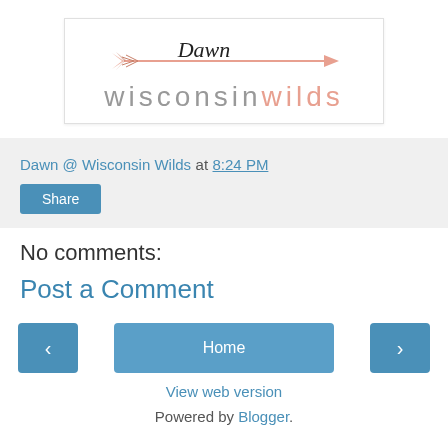[Figure (logo): Wisconsin Wilds blog logo with decorative arrow and 'Dawn' script text above 'wisconsinwilds' in mixed grey and salmon colors]
Dawn @ Wisconsin Wilds at 8:24 PM
Share
No comments:
Post a Comment
Home
View web version
Powered by Blogger.